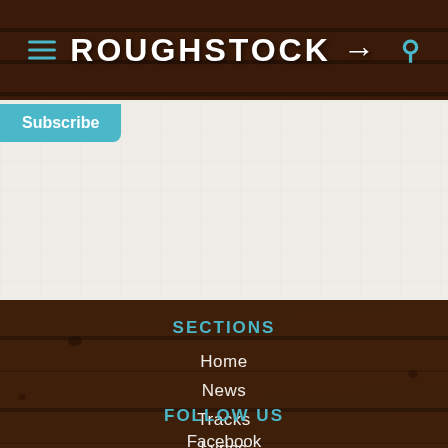ROUGHSTOCK
Subscribe
SECTIONS
Home
News
Tracks
Lyrics
FOLLOW US
Facebook
Twitt…